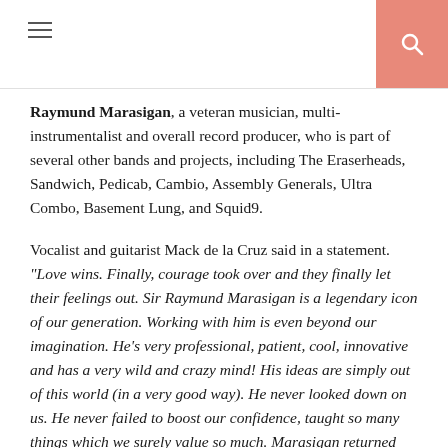[hamburger menu icon] [search icon]
Raymund Marasigan, a veteran musician, multi-instrumentalist and overall record producer, who is part of several other bands and projects, including The Eraserheads, Sandwich, Pedicab, Cambio, Assembly Generals, Ultra Combo, Basement Lung, and Squid9.
Vocalist and guitarist Mack de la Cruz said in a statement. “Love wins. Finally, courage took over and they finally let their feelings out. Sir Raymund Marasigan is a legendary icon of our generation. Working with him is even beyond our imagination. He’s very professional, patient, cool, innovative and has a very wild and crazy mind! His ideas are simply out of this world (in a very good way). He never looked down on us. He never failed to boost our confidence, taught so many things which we surely value so much. Marasigan returned the favor by praising the band’s work ethic. WeGot is a family. Working with them is like going to a family excursion at the beach especially